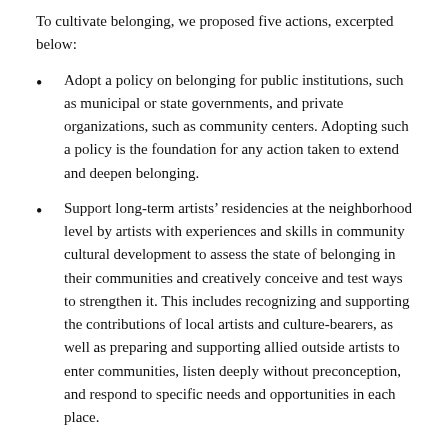To cultivate belonging, we proposed five actions, excerpted below:
Adopt a policy on belonging for public institutions, such as municipal or state governments, and private organizations, such as community centers. Adopting such a policy is the foundation for any action taken to extend and deepen belonging.
Support long-term artists’ residencies at the neighborhood level by artists with experiences and skills in community cultural development to assess the state of belonging in their communities and creatively conceive and test ways to strengthen it. This includes recognizing and supporting the contributions of local artists and culture-bearers, as well as preparing and supporting allied outside artists to enter communities, listen deeply without preconception, and respond to specific needs and opportunities in each place.